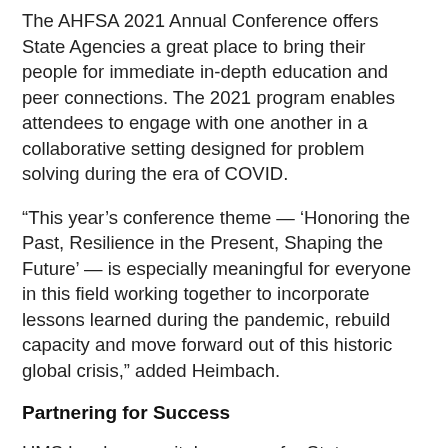The AHFSA 2021 Annual Conference offers State Agencies a great place to bring their people for immediate in-depth education and peer connections. The 2021 program enables attendees to engage with one another in a collaborative setting designed for problem solving during the era of COVID.
“This year’s conference theme — ‘Honoring the Past, Resilience in the Present, Shaping the Future’ — is especially meaningful for everyone in this field working together to incorporate lessons learned during the pandemic, rebuild capacity and move forward out of this historic global crisis,” added Heimbach.
Partnering for Success
HMS has been a vital resource for State Agencies during the pandemic, and is working with them to help accelerate their recovery as much as possible amid